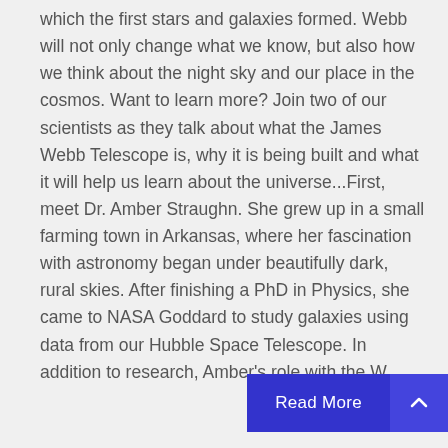which the first stars and galaxies formed. Webb will not only change what we know, but also how we think about the night sky and our place in the cosmos. Want to learn more? Join two of our scientists as they talk about what the James Webb Telescope is, why it is being built and what it will help us learn about the universe...First, meet Dr. Amber Straughn. She grew up in a small farming town in Arkansas, where her fascination with astronomy began under beautifully dark, rural skies. After finishing a PhD in Physics, she came to NASA Goddard to study galaxies using data from our Hubble Space Telescope. In addition to research, Amber's role with the W...